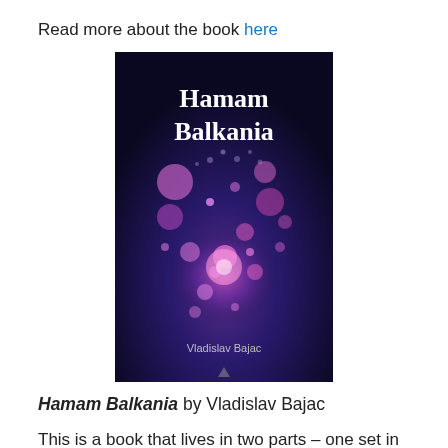Read more about the book here
[Figure (photo): Book cover of Hamam Balkania by Vladislav Bajac, showing a dark blue/purple background with glowing pink and white particle/bubble-like shapes and the title in white serif font at the top.]
Hamam Balkania by Vladislav Bajac
This is a book that lives in two parts – one set in the Ottoman empire of the 16th century, and the other in our own 21st century reality. Here we have the story of two friends, both taken as children from their homes and inducted into the Turkish Sultan's private guard: Sokollu Mehmed Pasha, the Serbian shepherd boy who rose to the position of Grand Vizier and Koca Mimar Sinan, the